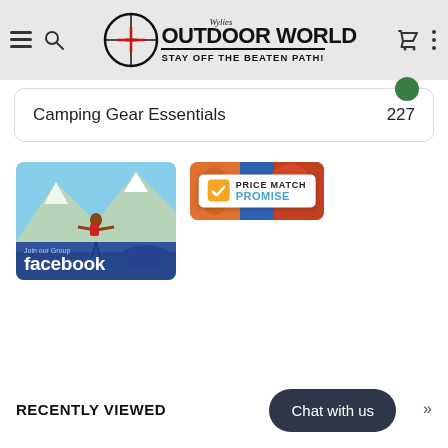Wylies Outdoor World — Stay Off the Beaten Path!
Camping Gear Essentials   227
[Figure (photo): Person with arms outstretched on a mountain top with a red backpack, Facebook group banner overlay reading 'Join our Group facebook']
[Figure (logo): Price Match Promise badge with orange checkmark on white background with colorful outdoor gear background]
RECENTLY VIEWED
Chat with us